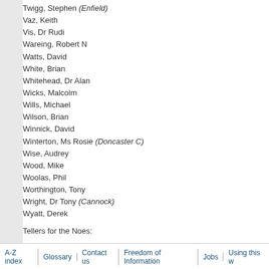Twigg, Stephen (Enfield)
Vaz, Keith
Vis, Dr Rudi
Wareing, Robert N
Watts, David
White, Brian
Whitehead, Dr Alan
Wicks, Malcolm
Wills, Michael
Wilson, Brian
Winnick, David
Winterton, Ms Rosie (Doncaster C)
Wise, Audrey
Wood, Mike
Woolas, Phil
Worthington, Tony
Wright, Dr Tony (Cannock)
Wyatt, Derek
Tellers for the Noes:
Mr. David Jamieson and
Mr. Jim Dowd.
Question accordingly negatived.
10 Dec 1997 : Column 1121
Clause 12
Next Section
Index
A-Z index | Glossary | Contact us | Freedom of Information | Jobs | Using this w